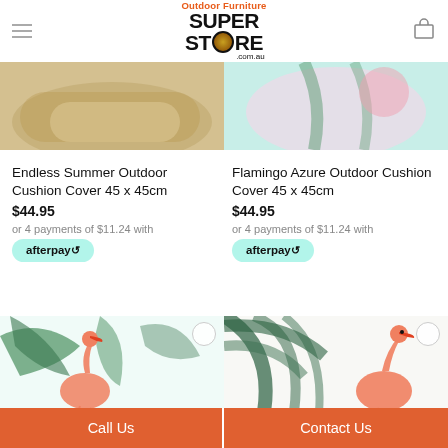[Figure (logo): Outdoor Furniture Super Store .com.au logo with orange text and globe icon]
[Figure (photo): Cropped top portion of Endless Summer Outdoor Cushion Cover product image]
[Figure (photo): Cropped top portion of Flamingo Azure Outdoor Cushion Cover product image]
Endless Summer Outdoor Cushion Cover 45 x 45cm
$44.95
or 4 payments of $11.24 with
[Figure (logo): Afterpay badge/button]
Flamingo Azure Outdoor Cushion Cover 45 x 45cm
$44.95
or 4 payments of $11.24 with
[Figure (logo): Afterpay badge/button]
[Figure (photo): Flamingo outdoor cushion with pink flamingo and tropical palm leaves on light background]
[Figure (photo): Flamingo outdoor cushion with pink flamingo and dark tropical palm leaves on white background]
Call Us
Contact Us